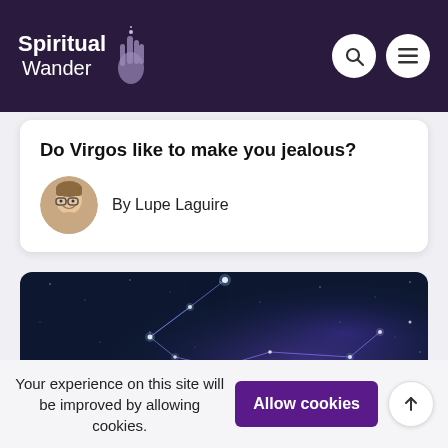Spiritual Wander
Do Virgos like to make you jealous?
By Lupe Laguire
[Figure (photo): Night sky constellation image showing stars connected by lines against a dark blue background with a purple nebula glow]
Your experience on this site will be improved by allowing cookies.